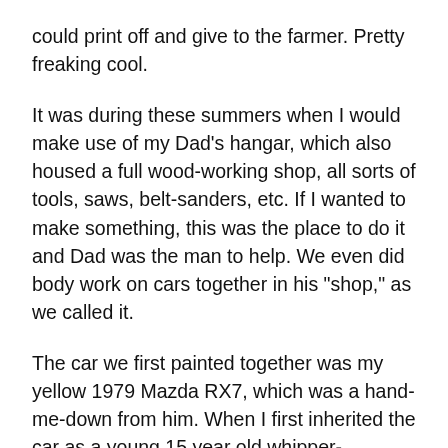could print off and give to the farmer. Pretty freaking cool.
It was during these summers when I would make use of my Dad's hangar, which also housed a full wood-working shop, all sorts of tools, saws, belt-sanders, etc. If I wanted to make something, this was the place to do it and Dad was the man to help. We even did body work on cars together in his "shop," as we called it.
The car we first painted together was my yellow 1979 Mazda RX7, which was a hand-me-down from him. When I first inherited the car as a young 15 year old whipper-snapper, it was not in great shape. The seats were torn, the body paint was chipped and rusty in some places, and instead of a proper cassette or CD player, it had a CB radio - the kind with a walkie talkie device and a curly-q chord attached to the